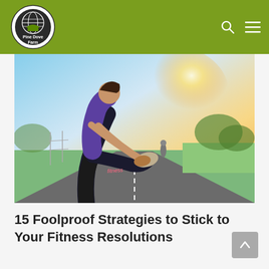Pine Dove Farm
[Figure (logo): Pine Dove Farm circular logo with globe and farm imagery, white on dark circle]
[Figure (photo): Person in purple shirt and black shorts stretching leg on an outdoor running path with sunlight in the background and another runner further down the path]
15 Foolproof Strategies to Stick to Your Fitness Resolutions